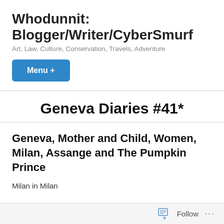Whodunnit: Blogger/Writer/CyberSmurf
Art, Law, Culture, Conservation, Travels, Adventure
Menu +
Geneva Diaries #41*
Geneva, Mother and Child, Women, Milan, Assange and The Pumpkin Prince
Milan in Milan
Follow ...